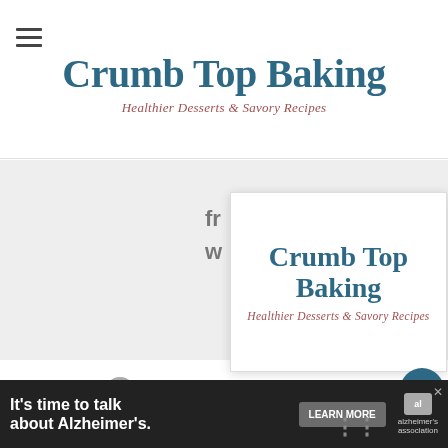Crumb Top Baking
Healthier Desserts & Savory Recipes
[Figure (logo): Crumb Top Baking logo with tagline 'Healthier Desserts & Savory Recipes' in a white popup card overlay]
4. To caramelize the banana, slice one medium-sized banana and spread the slices out on a pre-heated, greased frying pan. Sprinkle on 1/2 coconut sugar. Sauté the
[Figure (other): What's Next: Vegan Chai Cake with... thumbnail and label]
[Figure (other): Advertisement banner: It's time to talk about Alzheimer's. Learn More. Alzheimer's Association logo.]